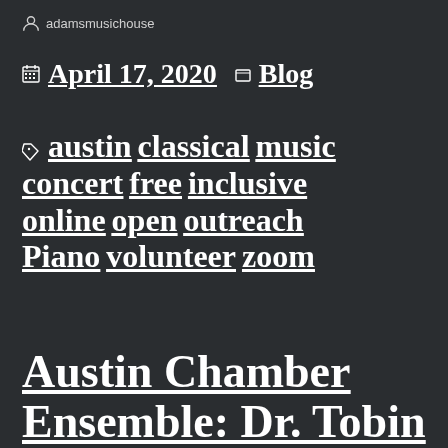adamsmusichouse
April 17, 2020   Blog
austin classical music concert free inclusive online open outreach Piano volunteer zoom
Austin Chamber Ensemble: Dr. Tobin